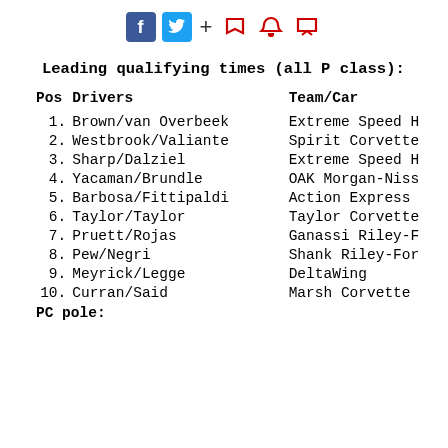f [twitter] + [bookmark][bell][chat]
Leading qualifying times (all P class):
| Pos | Drivers | Team/Car |
| --- | --- | --- |
| 1. | Brown/van Overbeek | Extreme Speed H |
| 2. | Westbrook/Valiante | Spirit Corvette |
| 3. | Sharp/Dalziel | Extreme Speed H |
| 4. | Yacaman/Brundle | OAK Morgan-Niss |
| 5. | Barbosa/Fittipaldi | Action Express |
| 6. | Taylor/Taylor | Taylor Corvette |
| 7. | Pruett/Rojas | Ganassi Riley-F |
| 8. | Pew/Negri | Shank Riley-For |
| 9. | Meyrick/Legge | DeltaWing |
| 10. | Curran/Said | Marsh Corvette |
PC pole: